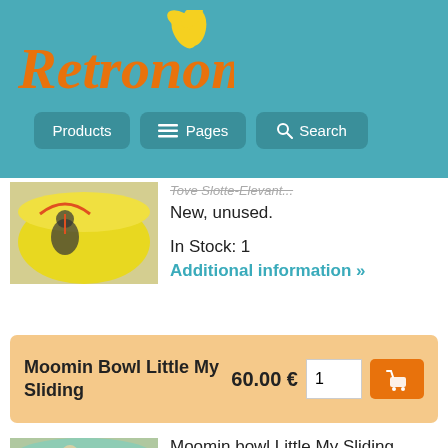Retronomi — Products | Pages | Search
New, unused.
In Stock: 1
Additional information »
Moomin Bowl Little My Sliding  60.00 €  1  [cart]
[Figure (photo): Yellow bowl with Moomin character under umbrella]
Moomin bowl Little My Sliding, Arabia 2004-2008, Tove Slotte-
[Figure (photo): Green bowl with Moomin character, Little My Sliding]